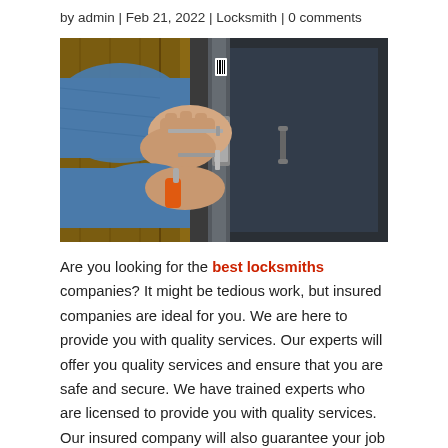by admin | Feb 21, 2022 | Locksmith | 0 comments
[Figure (photo): Close-up of a person in a blue denim shirt using locksmith tools to work on a door lock cylinder. The door has a metal handle and dark glass panel.]
Are you looking for the best locksmiths companies? It might be tedious work, but insured companies are ideal for you. We are here to provide you with quality services. Our experts will offer you quality services and ensure that you are safe and secure. We have trained experts who are licensed to provide you with quality services. Our insured company will also guarantee your job is done quickly and efficiently.